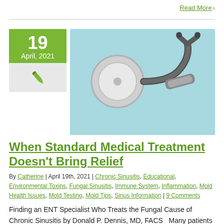Read More >
[Figure (photo): Medical stethoscope and instruments on a light blue background]
When Standard Medical Treatment Doesn't Bring Relief
By Catherine | April 19th, 2021 | Chronic Sinusitis, Educational, Environmental Toxins, Fungal Sinusitis, Immune System, Inflammation, Mold Health Issues, Mold Testing, Mold Tips, Sinus Information | 9 Comments
Finding an ENT Specialist Who Treats the Fungal Cause of Chronic Sinusitis by Donald P. Dennis, MD, FACS  Many patients can often...